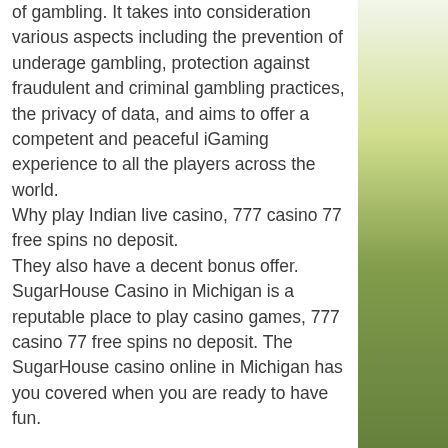of gambling. It takes into consideration various aspects including the prevention of underage gambling, protection against fraudulent and criminal gambling practices, the privacy of data, and aims to offer a competent and peaceful iGaming experience to all the players across the world. Why play Indian live casino, 777 casino 77 free spins no deposit. They also have a decent bonus offer. SugarHouse Casino in Michigan is a reputable place to play casino games, 777 casino 77 free spins no deposit. The SugarHouse casino online in Michigan has you covered when you are ready to have fun.
Stars slots casino play with friends
Are 777 casino™ no deposit bonuses legit?
▶ review updated feb 22, 2022 ✓ 77 no